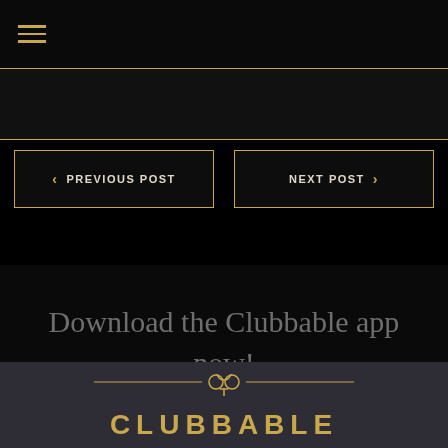[Figure (screenshot): Hamburger menu icon with three horizontal gold lines on black background]
< PREVIOUS POST
NEXT POST >
Download the Clubbable app now!
[Figure (logo): Clubbable logo with club card suit symbol and horizontal lines, text CLUBBABLE partially visible]